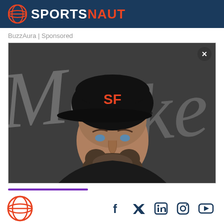SPORTSNAUT
BuzzAura | Sponsored
[Figure (photo): Man wearing a black San Francisco Giants baseball cap and dark jacket, with a beard, posing in front of a dark background with white script lettering.]
Sportsnaut logo and social media icons: Facebook, Twitter, LinkedIn, Instagram, YouTube